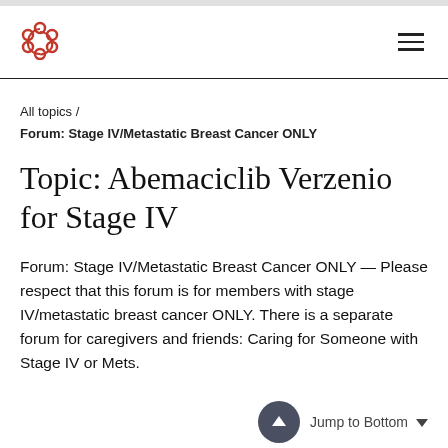[Figure (logo): Red circular knot/ring logo]
All topics / Forum: Stage IV/Metastatic Breast Cancer ONLY
Topic: Abemaciclib Verzenio for Stage IV
Forum: Stage IV/Metastatic Breast Cancer ONLY — Please respect that this forum is for members with stage IV/metastatic breast cancer ONLY. There is a separate forum for caregivers and friends: Caring for Someone with Stage IV or Mets.
Jump to Bottom